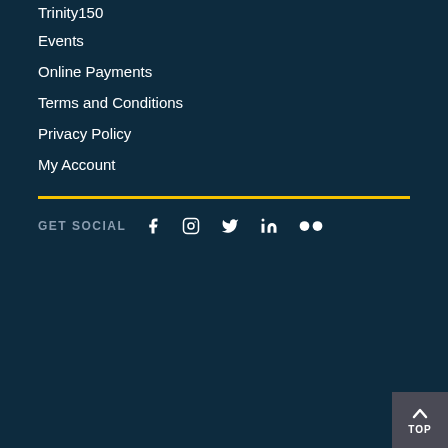Trinity150
Events
Online Payments
Terms and Conditions
Privacy Policy
My Account
[Figure (infographic): Yellow horizontal divider line]
GET SOCIAL with social media icons: Facebook, Instagram, Twitter, LinkedIn, Flickr
[Figure (infographic): TOP button with upward arrow chevron in dark gray square at bottom right]